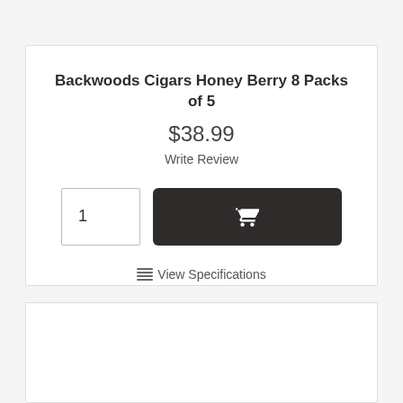Backwoods Cigars Honey Berry 8 Packs of 5
$38.99
Write Review
[Figure (screenshot): Quantity input box showing '1' and a dark Add to Cart button with shopping cart icon]
View Specifications